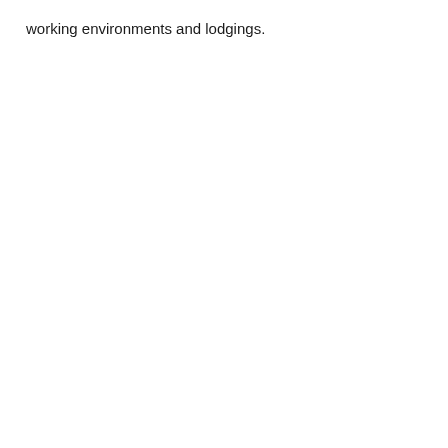working environments and lodgings.